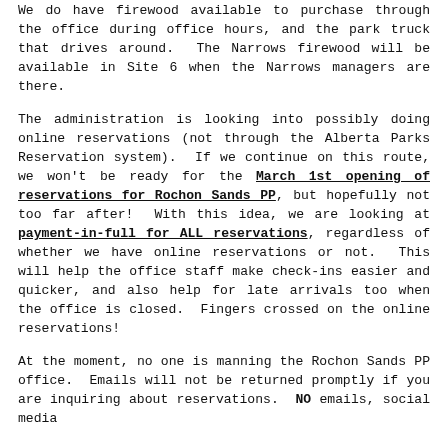We do have firewood available to purchase through the office during office hours, and the park truck that drives around. The Narrows firewood will be available in Site 6 when the Narrows managers are there.
The administration is looking into possibly doing online reservations (not through the Alberta Parks Reservation system). If we continue on this route, we won't be ready for the March 1st opening of reservations for Rochon Sands PP, but hopefully not too far after! With this idea, we are looking at payment-in-full for ALL reservations, regardless of whether we have online reservations or not. This will help the office staff make check-ins easier and quicker, and also help for late arrivals too when the office is closed. Fingers crossed on the online reservations!
At the moment, no one is manning the Rochon Sands PP office. Emails will not be returned promptly if you are inquiring about reservations. NO emails, social media